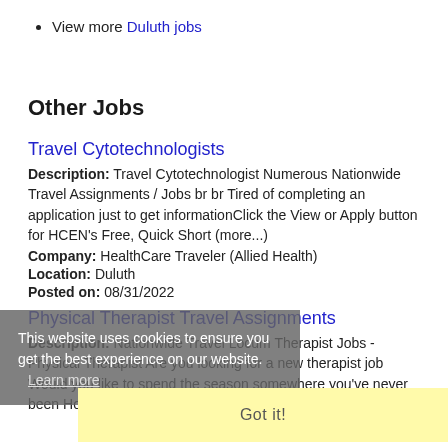View more Duluth jobs
Other Jobs
Travel Cytotechnologists
Description: Travel Cytotechnologist Numerous Nationwide Travel Assignments / Jobs br br Tired of completing an application just to get informationClick the View or Apply button for HCEN's Free, Quick Short (more...)
Company: HealthCare Traveler (Allied Health)
Location: Duluth
Posted on: 08/31/2022
Physical Therapist Travel Assignments
Description: Nationwide Travel Locum Therapist Jobs - Physical Therapist Are you looking for a new therapist job Would you like to spend the season somewhere you've never been Hospitals, Clinics,